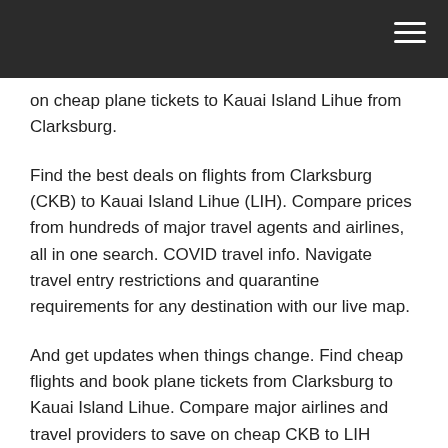on cheap plane tickets to Kauai Island Lihue from Clarksburg.
Find the best deals on flights from Clarksburg (CKB) to Kauai Island Lihue (LIH). Compare prices from hundreds of major travel agents and airlines, all in one search. COVID travel info. Navigate travel entry restrictions and quarantine requirements for any destination with our live map.
And get updates when things change. Find cheap flights and book plane tickets from Clarksburg to Kauai Island Lihue. Compare major airlines and travel providers to save on cheap CKB to LIH tickets. COVID travel info. Find cheap flights from Clarksburg to Kauai Island Lihue on Skyscanner. Book the best deals for your flights to LIH from CKB. COVID travel info. Navigate travel entry